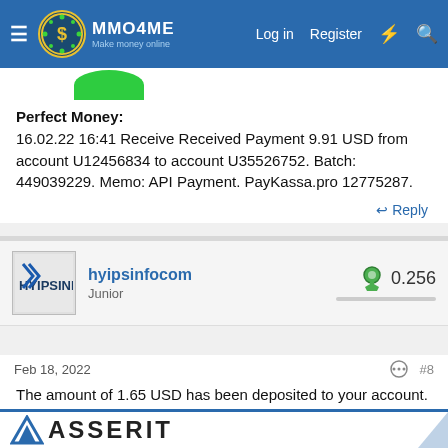MMO4ME — Make money online | Log in | Register
Perfect Money:
16.02.22 16:41 Receive Received Payment 9.91 USD from account U12456834 to account U35526752. Batch: 449039229. Memo: API Payment. PayKassa.pro 12775287.
hyipsinfocom
Junior
0.256
Feb 18, 2022
#8
The amount of 1.65 USD has been deposited to your account. Memo: API Payment. PayKassa.pro 12778701.. Date: 19:49 16.02.22. Batch: 449068006.
[Figure (logo): ASSERIT banner logo at bottom]